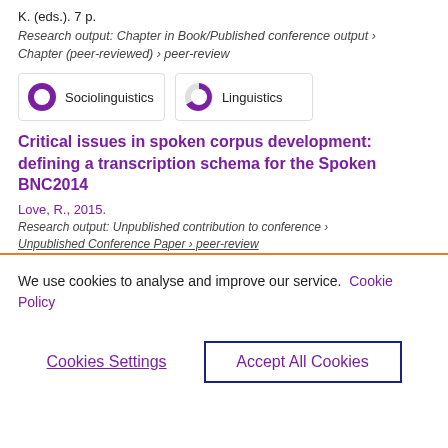K. (eds.). 7 p.
Research output: Chapter in Book/Published conference output › Chapter (peer-reviewed) › peer-review
[Figure (infographic): Two badge-style indicators: '100% Sociolinguistics' with a fully filled donut/circle and '70% Linguistics' with a partially filled donut/circle]
Critical issues in spoken corpus development: defining a transcription schema for the Spoken BNC2014
Love, R., 2015.
Research output: Unpublished contribution to conference › Unpublished Conference Paper › peer-review
We use cookies to analyse and improve our service. Cookie Policy
Cookies Settings
Accept All Cookies